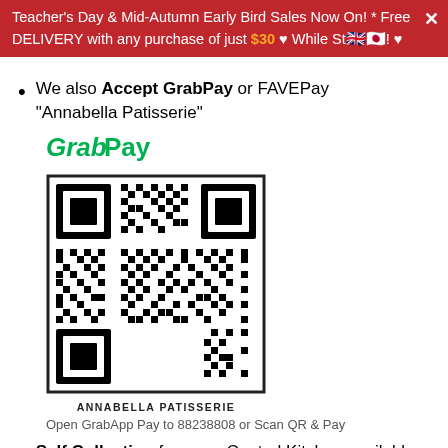Teacher's Day & Mid-Autumn Early Bird Sales Now On! * Free DELIVERY with any purchase of just $30 ♥ While Stock Lasts! ♥
We also Accept GrabPay or FAVEPay "Annabella Patisserie"
[Figure (other): GrabPay logo in green and a QR code for Annabella Patisserie GrabPay. Label: ANNABELLA PATISSERIE. Caption: Open GrabApp Pay to 88238808 or Scan QR & Pay]
Open GrabApp Pay to 88238808 or Scan QR & Pay
Self Collection from our Central Kitchen available [See Map & Direction]
e Delivery Time-Slot 11am-5pm is fixed depending on rider's schedule and weather condition, seek your patience for possible slight